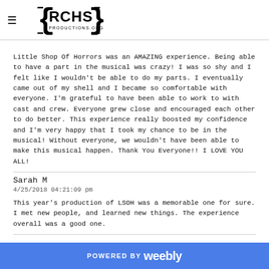RCHS Productions
Little Shop Of Horrors was an AMAZING experience. Being able to have a part in the musical was crazy! I was so shy and I felt like I wouldn't be able to do my parts. I eventually came out of my shell and I became so comfortable with everyone. I'm grateful to have been able to work to with cast and crew. Everyone grew close and encouraged each other to do better. This experience really boosted my confidence and I'm very happy that I took my chance to be in the musical! Without everyone, we wouldn't have been able to make this musical happen. Thank You Everyone!! I LOVE YOU ALL!
Sarah M
4/25/2018 04:21:09 pm
This year's production of LSOH was a memorable one for sure. I met new people, and learned new things. The experience overall was a good one.
POWERED BY weebly